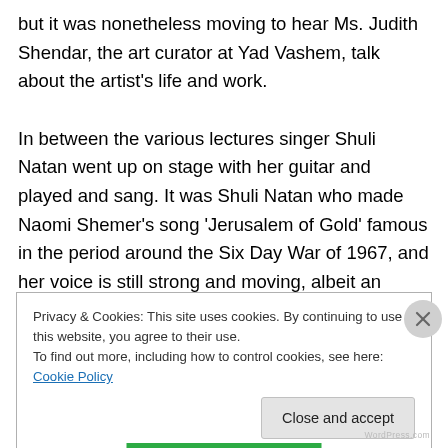but it was nonetheless moving to hear Ms. Judith Shendar, the art curator at Yad Vashem, talk about the artist's life and work.

In between the various lectures singer Shuli Natan went up on stage with her guitar and played and sang. It was Shuli Natan who made Naomi Shemer's song 'Jerusalem of Gold' famous in the period around the Six Day War of 1967, and her voice is still strong and moving, albeit an octave or two lower now. The singer told the audience that her family was originally from Hamburg (like mine), having
Privacy & Cookies: This site uses cookies. By continuing to use this website, you agree to their use.
To find out more, including how to control cookies, see here: Cookie Policy
Close and accept